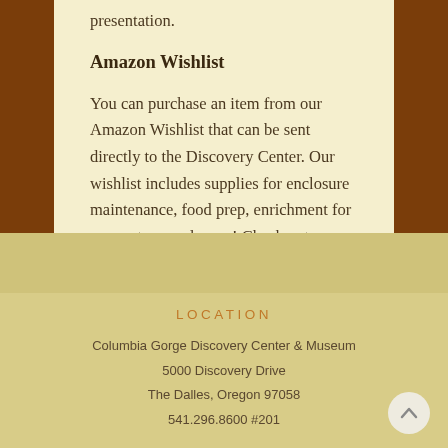presentation.
Amazon Wishlist
You can purchase an item from our Amazon Wishlist that can be sent directly to the Discovery Center. Our wishlist includes supplies for enclosure maintenance, food prep, enrichment for our raptors, and more! Check out our list here.
LOCATION
Columbia Gorge Discovery Center & Museum
5000 Discovery Drive
The Dalles, Oregon 97058
541.296.8600 #201